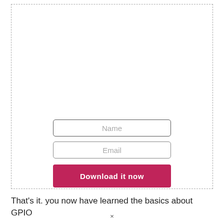[Figure (screenshot): A dashed-border rectangle containing a web form with Name field, Email field, and a crimson 'Download it now' button]
That's it. you now have learned the basics about GPIO
×